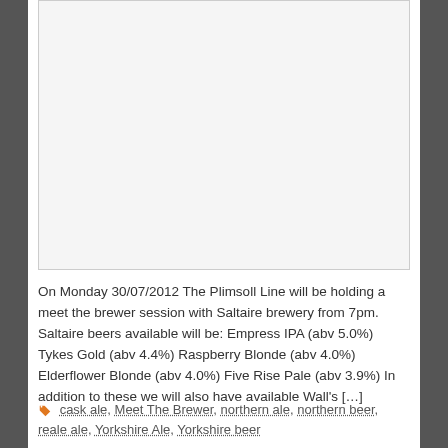[Figure (photo): Large blank/white image placeholder with light gray background and border]
On Monday 30/07/2012 The Plimsoll Line will be holding a meet the brewer session with Saltaire brewery from 7pm. Saltaire beers available will be: Empress IPA (abv 5.0%) Tykes Gold (abv 4.4%) Raspberry Blonde (abv 4.0%) Elderflower Blonde (abv 4.0%) Five Rise Pale (abv 3.9%) In addition to these we will also have available Wall's […]
cask ale, Meet The Brewer, northern ale, northern beer, reale ale, Yorkshire Ale, Yorkshire beer